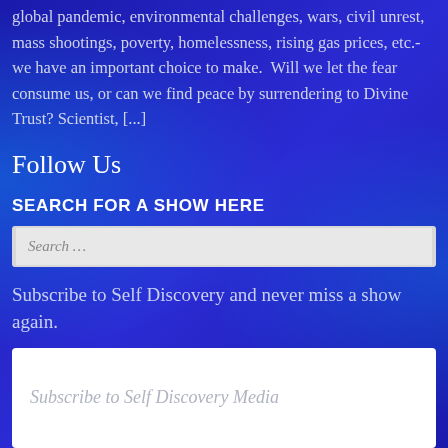global pandemic, environmental challenges, wars, civil unrest, mass shootings, poverty, homelessness, rising gas prices, etc.- we have an important choice to make.  Will we let the fear consume us, or can we find peace by surrendering to Divine Trust? Scientist, [...]
Follow Us
SEARCH FOR A SHOW HERE
Search ...
Subscribe to Self Discovery and never miss a show again.
Subscribe to Self Discovery Media